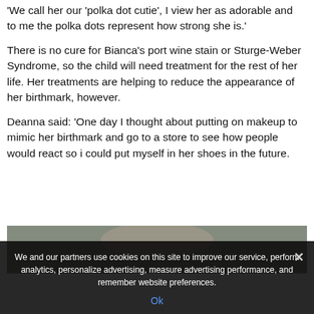‘We call her our ‘polka dot cutie’, I view her as adorable and to me the polka dots represent how strong she is.’
There is no cure for Bianca’s port wine stain or Sturge-Weber Syndrome, so the child will need treatment for the rest of her life. Her treatments are helping to reduce the appearance of her birthmark, however.
Deanna said: ‘One day I thought about putting on makeup to mimic her birthmark and go to a store to see how people would react so i could put myself in her shoes in the future.
[Figure (photo): Partial photo of a person, cropped at bottom of page]
We and our partners use cookies on this site to improve our service, perform analytics, personalize advertising, measure advertising performance, and remember website preferences.
Ok